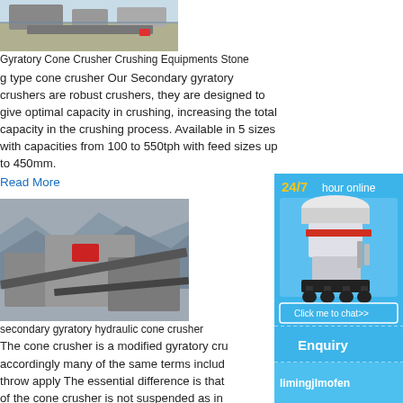[Figure (photo): Gyratory cone crusher equipment at a quarry/plant site, aerial/side view with machinery and conveyors on rocky ground]
Gyratory Cone Crusher Crushing Equipments Stone
g type cone crusher Our Secondary gyratory crushers are robust crushers, they are designed to give optimal capacity in crushing, increasing the total capacity in the crushing process. Available in 5 sizes with capacities from 100 to 550tph with feed sizes up to 450mm.
Read More
[Figure (photo): Secondary gyratory hydraulic cone crusher installed at a quarry with rock face background]
secondary gyratory hydraulic cone crusher
The cone crusher is a modified gyratory cru accordingly many of the same terms includ throw apply The essential difference is that of the cone crusher is not suspended as in
[Figure (infographic): Sidebar advertisement: 24/7 hour online, photo of cone crusher machine, Click me to chat>> button, Enquiry section, limingjlmofen text]